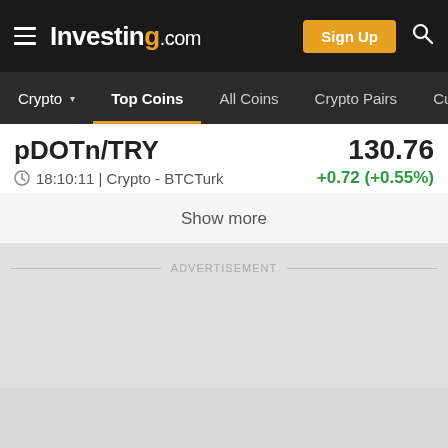Investing.com
Crypto | Top Coins | All Coins | Crypto Pairs | Cur...
pDOTn/TRY  130.76
18:10:11 | Crypto - BTCTurk  +0.72 (+0.55%)
Show more
ADVERTISEMENT